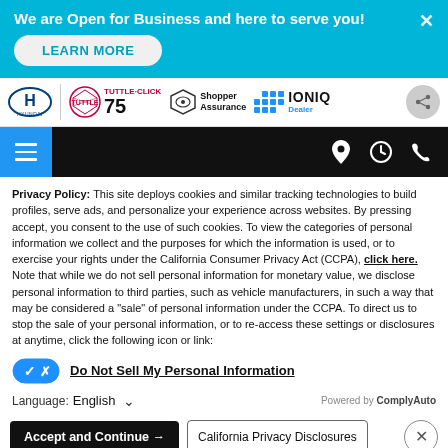We are Open for Business and here to serve you!
LEARN MORE
[Figure (logo): Hyundai logo, Tuttle-Click 75th anniversary logo, Shopper Assurance badge, IONIQ Dealer badge, share icon]
[Figure (infographic): Black navigation bar with hamburger menu (blue background), location pin icon, clock icon, phone icon]
Privacy Policy: This site deploys cookies and similar tracking technologies to build profiles, serve ads, and personalize your experience across websites. By pressing accept, you consent to the use of such cookies. To view the categories of personal information we collect and the purposes for which the information is used, or to exercise your rights under the California Consumer Privacy Act (CCPA), click here. Note that while we do not sell personal information for monetary value, we disclose personal information to third parties, such as vehicle manufacturers, in such a way that may be considered a "sale" of personal information under the CCPA. To direct us to stop the sale of your personal information, or to re-access these settings or disclosures at anytime, click the following icon or link:
Do Not Sell My Personal Information
Language: English      Powered by ComplyAuto
Accept and Continue →   California Privacy Disclosures